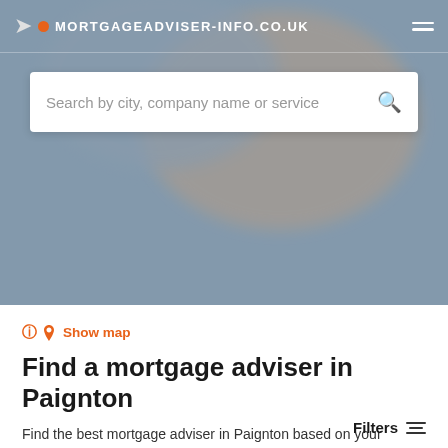MORTGAGEADVISER-INFO.CO.UK
Search by city, company name or service
Show map
Find a mortgage adviser in Paignton
Find the best mortgage adviser in Paignton based on your preferences. For example, use our filter options to search for risk analysis, insurance advice or compare interest. In our Terms and Conditions you will find more information about how our search results are generated.
Filters